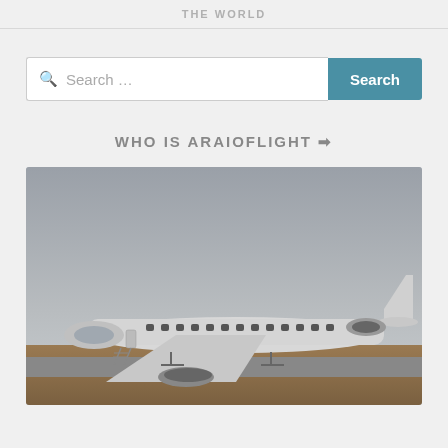THE WORLD
Search …
WHO IS ARAIOFLIGHT ➤
[Figure (photo): A white private/regional jet aircraft parked on a tarmac with stairs extended, set against a grey overcast sky. The aircraft appears to be an Embraer Legacy or similar regional jet.]